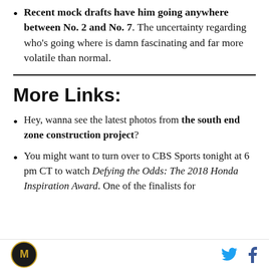Recent mock drafts have him going anywhere between No. 2 and No. 7. The uncertainty regarding who's going where is damn fascinating and far more volatile than normal.
More Links:
Hey, wanna see the latest photos from the south end zone construction project?
You might want to turn over to CBS Sports tonight at 6 pm CT to watch Defying the Odds: The 2018 Honda Inspiration Award. One of the finalists for
M logo | Twitter | Facebook